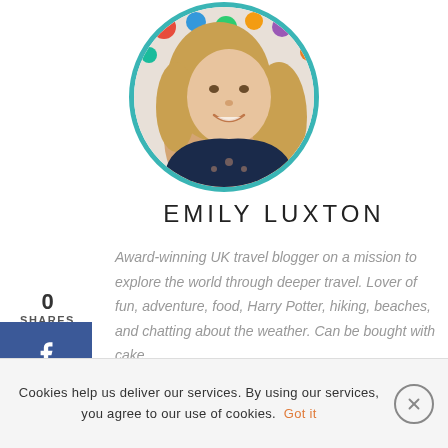[Figure (photo): Circular profile photo of Emily Luxton, a woman with long blonde hair smiling, wearing a dark navy blue top, with colorful polka dot background]
EMILY LUXTON
0 SHARES
[Figure (infographic): Social share sidebar buttons: Facebook (blue), Twitter (light blue), Pinterest (red), LinkedIn (dark blue)]
Award-winning UK travel blogger on a mission to explore the world through deeper travel. Lover of fun, adventure, food, Harry Potter, hiking, beaches, and chatting about the weather. Can be bought with cake.
Cookies help us deliver our services. By using our services, you agree to our use of cookies. Got it